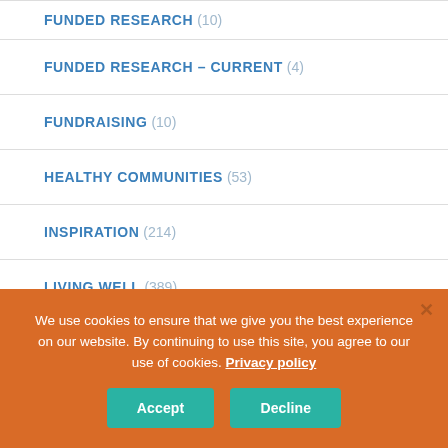FUNDED RESEARCH (10)
FUNDED RESEARCH – CURRENT (4)
FUNDRAISING (10)
HEALTHY COMMUNITIES (53)
INSPIRATION (214)
LIVING WELL (389)
MEDICAL (88)
We use cookies to ensure that we give you the best experience on our website. By continuing to use this site, you agree to our use of cookies. Privacy policy